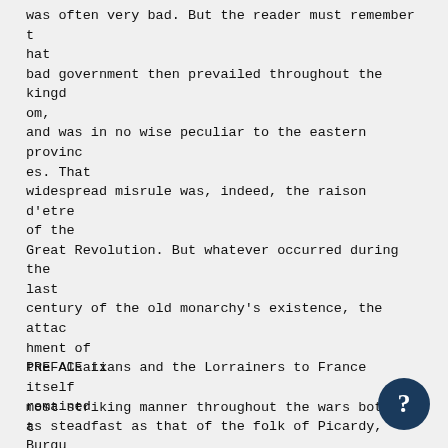was often very bad. But the reader must remember that bad government then prevailed throughout the kingdom, and was in no wise peculiar to the eastern provinces. That widespread misrule was, indeed, the raison d'etre of the Great Revolution. But whatever occurred during the last century of the old monarchy's existence, the attachment of the Alsatians and the Lorrainers to France itself remained as steadfast as that of the folk of Picardy, Burgundy, Gascony or any other part of the country, and was exemplified in the
PREFACE ix
most striking manner throughout the wars both of t